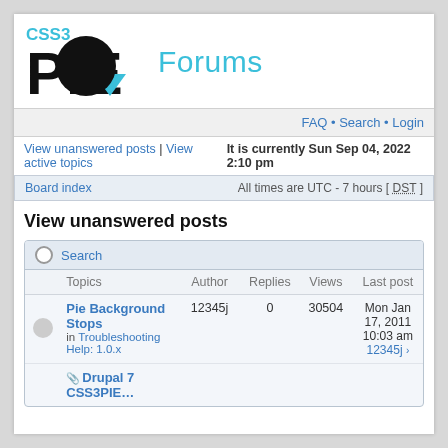[Figure (logo): CSS3 PIE logo with cyan CSS3 text and large black PIE letters with a cyan triangle/pie slice element]
Forums
FAQ • Search • Login
View unanswered posts | View active topics   It is currently Sun Sep 04, 2022 2:10 pm
Board index   All times are UTC - 7 hours [ DST ]
View unanswered posts
Search
|  | Topics | Author | Replies | Views | Last post |
| --- | --- | --- | --- | --- | --- |
|  | Pie Background Stops in Troubleshooting Help: 1.0.x | 12345j | 0 | 30504 | Mon Jan 17, 2011 10:03 am 12345j → |
|  | Drupal 7 CSS3PIE… |  |  |  |  |